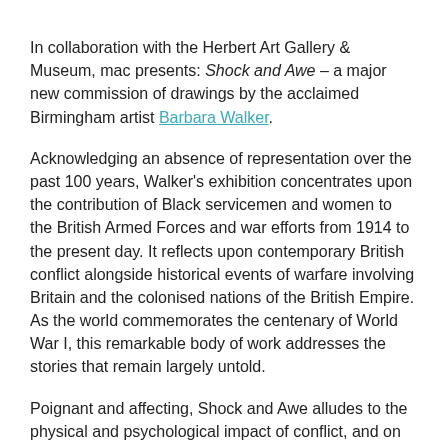In collaboration with the Herbert Art Gallery & Museum, mac presents: Shock and Awe – a major new commission of drawings by the acclaimed Birmingham artist Barbara Walker.
Acknowledging an absence of representation over the past 100 years, Walker's exhibition concentrates upon the contribution of Black servicemen and women to the British Armed Forces and war efforts from 1914 to the present day. It reflects upon contemporary British conflict alongside historical events of warfare involving Britain and the colonised nations of the British Empire. As the world commemorates the centenary of World War I, this remarkable body of work addresses the stories that remain largely untold.
Poignant and affecting, Shock and Awe alludes to the physical and psychological impact of conflict, and on the often turbulent return to civilian life after war. Through the collection of large scale drawings, Walker reflects upon the contributions of the British West Indies Regiment and the King's African